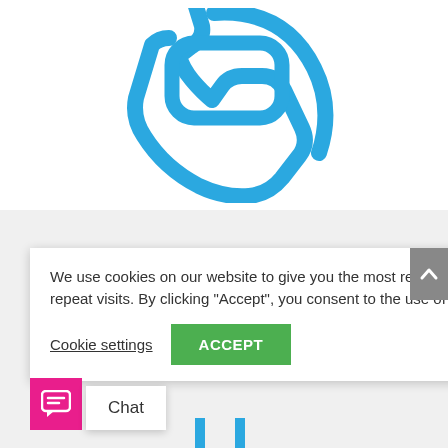[Figure (illustration): Blue phone/handset icon on white background, outline style with thick rounded strokes]
We use cookies on our website to give you the most relevant experience by remembering your preferences and repeat visits. By clicking “Accept”, you consent to the use of ALL the cookies.
Cookie settings
ACCEPT
[Figure (illustration): Magenta/pink chat icon button (speech bubble with lines)]
Chat